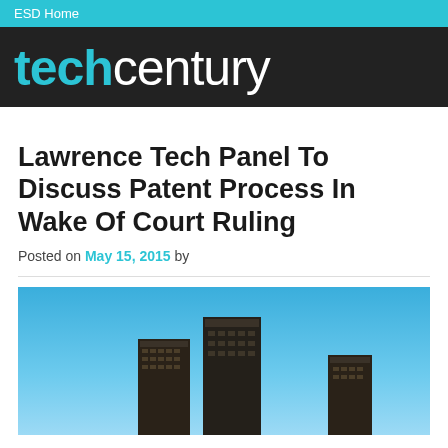ESD Home
techcentury
Lawrence Tech Panel To Discuss Patent Process In Wake Of Court Ruling
Posted on May 15, 2015 by
[Figure (photo): Aerial view of city buildings against a blue sky, showing dark skyscrapers.]